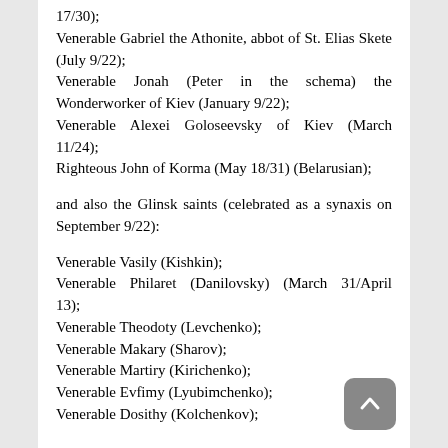17/30);
Venerable Gabriel the Athonite, abbot of St. Elias Skete (July 9/22);
Venerable Jonah (Peter in the schema) the Wonderworker of Kiev (January 9/22);
Venerable Alexei Goloseevsky of Kiev (March 11/24);
Righteous John of Korma (May 18/31) (Belarusian);
and also the Glinsk saints (celebrated as a synaxis on September 9/22):
Venerable Vasily (Kishkin);
Venerable Philaret (Danilovsky) (March 31/April 13);
Venerable Theodoty (Levchenko);
Venerable Makary (Sharov);
Venerable Martiry (Kirichenko);
Venerable Evfimy (Lyubimchenko);
Venerable Dosithy (Kolchenkov);